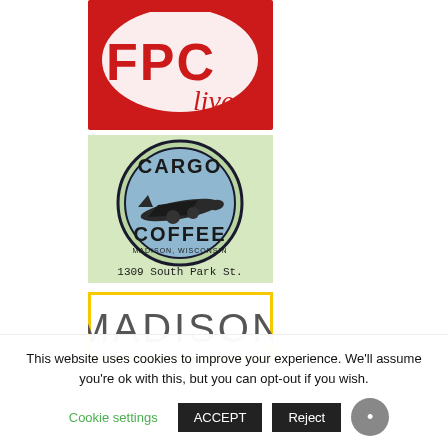[Figure (logo): FPC Live logo — red background with white brush-stroke border, bold red letters 'FPC' and cursive 'live' below]
[Figure (logo): Cargo Coffee logo — circular badge with airplane illustration, 'CARGO COFFEE' text, 'MADISON, WISCONSIN', and '1309 South Park St.' below, on light green background]
[Figure (logo): Madison Daily logo — yellow border rectangle with large grey sans-serif 'MADISON' text, partially visible]
This website uses cookies to improve your experience. We'll assume you're ok with this, but you can opt-out if you wish.
Cookie settings   ACCEPT   Reject